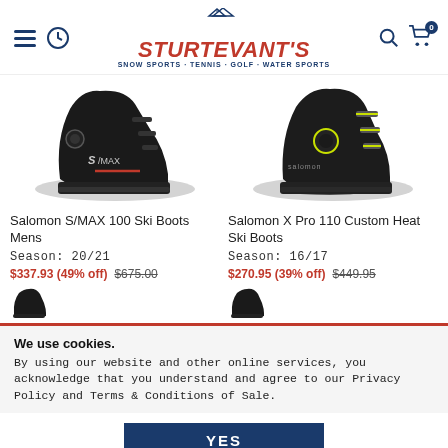[Figure (logo): Sturtevant's logo with mountain icon, red italic text 'STURTEVANT'S', tagline 'SNOW SPORTS · TENNIS · GOLF · WATER SPORTS']
[Figure (photo): Salomon S/MAX 100 ski boot in black with red accents, side view]
Salomon S/MAX 100 Ski Boots Mens
Season: 20/21
$337.93 (49% off)  $675.00
[Figure (photo): Salomon X Pro 110 Custom Heat ski boot in black with yellow-green accents, side view]
Salomon X Pro 110 Custom Heat Ski Boots
Season: 16/17
$270.95 (39% off)  $449.95
We use cookies.
By using our website and other online services, you acknowledge that you understand and agree to our Privacy Policy and Terms & Conditions of Sale.
YES